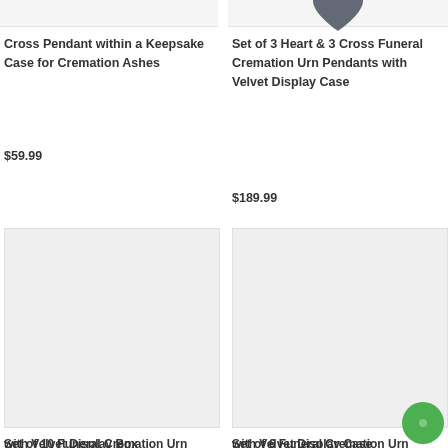[Figure (photo): Partial product image top left - light gray background]
Cross Pendant within a Keepsake Case for Cremation Ashes
$59.99
[Figure (photo): Partial product image top right with dark heart/cross pendant visible]
Set of 3 Heart & 3 Cross Funeral Cremation Urn Pendants with Velvet Display Case
$189.99
[Figure (photo): Product image bottom left - light gray placeholder]
Set of 10 Funeral Cremation Urn Keepsakes for Ashes with Velvet Display Box
[Figure (photo): Product image bottom right - light gray placeholder]
Set of 6 Funeral Cremation Urn Keepsakes for Ashes with Velvet Display Case